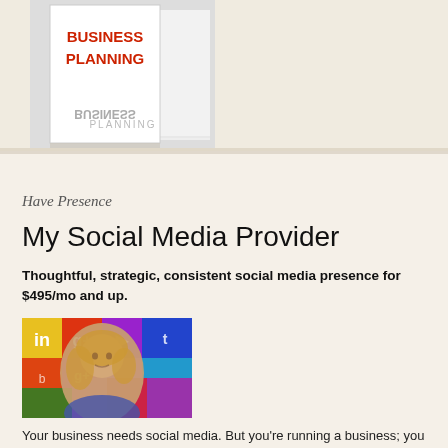[Figure (photo): Book cover showing 'BUSINESS PLANNING' text in red on white background, partial view]
Have Presence
My Social Media Provider
Thoughtful, strategic, consistent social media presence for $495/mo and up.
[Figure (photo): Woman with blonde hair in front of colorful social media icons including Google+, Twitter, Instagram, and others]
Your business needs social media. But you're running a business; you don't have the time. click here to find out more about Have